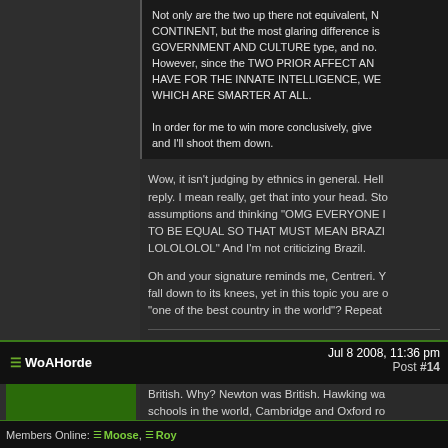Not only are the two up there not equivalent, CONTINENT, but the most glaring difference GOVERNMENT AND CULTURE type, and no. However, since the TWO PRIOR AFFECT AN HAVE FOR THE INNATE INTELLIGENCE, W WHICH ARE SMARTER AT ALL.

In order for me to win more conclusively, give and I'll shoot them down.
Wow, it isn't judging by ethnics in general. Hell reply. I mean really, get that into your head. Sto assumptions and thinking "OMG EVERYONE I TO BE EQUAL SO THAT MUST MEAN BRAZI LOLOLOLOL" And I'm not criticizing Brazil.

Oh and your signature reminds me, Centreri. Y fall down to its knees, yet in this topic you are o "one of the best country in the world"? Repeat
None.
≡ WoAHorde
Jul 8 2008, 11:36 pm
Post #14
British. Why? Newton was British. Hawking wa schools in the world, Cambridge and Oxford ro
Members Online: ≡ Moose, ≡ Roy